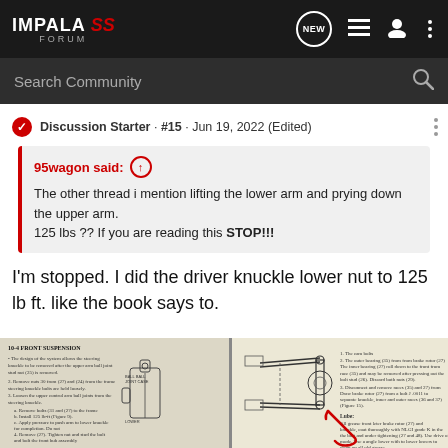IMPALA SS FORUM — Navigation header with search bar
Discussion Starter · #15 · Jun 19, 2022 (Edited)
95wagon said: ↑
The other thread i mention lifting the lower arm and prying down the upper arm.
125 lbs ?? If you are reading this STOP!!!
I'm stopped. I did the driver knuckle lower nut to 125 lb ft. like the book says to.
[Figure (photo): Two-page spread of a vehicle service manual showing front suspension diagrams and text instructions. Left page shows text steps and a ball joint/knuckle diagram. Right page shows a labeled suspension assembly diagram with a red arrow/pointer drawn on it.]